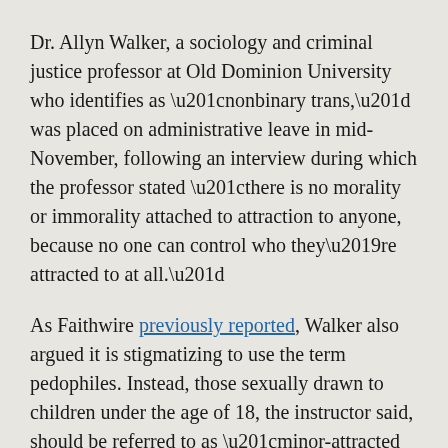Dr. Allyn Walker, a sociology and criminal justice professor at Old Dominion University who identifies as “nonbinary trans,” was placed on administrative leave in mid-November, following an interview during which the professor stated “there is no morality or immorality attached to attraction to anyone, because no one can control who they’re attracted to at all.”
As Faithwire previously reported, Walker also argued it is stigmatizing to use the term pedophiles. Instead, those sexually drawn to children under the age of 18, the instructor said, should be referred to as “minor-attracted people.”
While Walker said “child sexual abuse is never, ever OK,” the professor asserted it’s wrong to “categorize people with these attractions as evil or morally